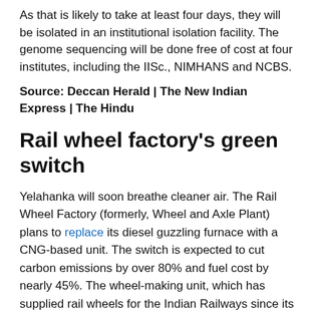As that is likely to take at least four days, they will be isolated in an institutional isolation facility. The genome sequencing will be done free of cost at four institutes, including the IISc., NIMHANS and NCBS.
Source: Deccan Herald | The New Indian Express | The Hindu
Rail wheel factory's green switch
Yelahanka will soon breathe cleaner air. The Rail Wheel Factory (formerly, Wheel and Axle Plant) plans to replace its diesel guzzling furnace with a CNG-based unit. The switch is expected to cut carbon emissions by over 80% and fuel cost by nearly 45%. The wheel-making unit, which has supplied rail wheels for the Indian Railways since its inception in 1983, will be shut for six months (from the end of January, 2021) to enable the upgrade.